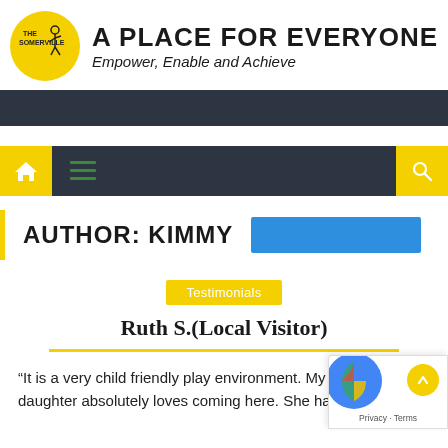THE SOMERVILLE | A PLACE FOR EVERYONE | Empower, Enable and Achieve
AUTHOR: KIMMY
Testimonials
Ruth S.(Local Visitor)
“It is a very child friendly play environment. My 7 ye daughter absolutely loves coming here. She has gai...